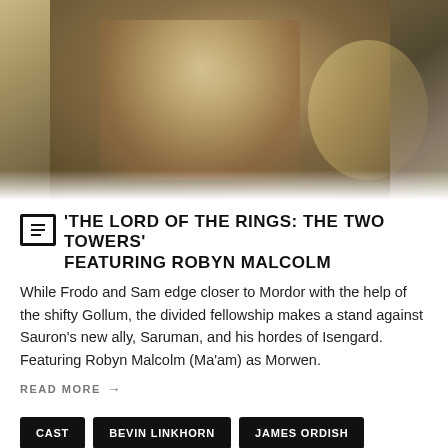[Figure (photo): Close-up photo of a disheveled character with wild blond hair, appearing to be from a fantasy film (Gollum or similar character from Lord of the Rings)]
'THE LORD OF THE RINGS: THE TWO TOWERS' FEATURING ROBYN MALCOLM
While Frodo and Sam edge closer to Mordor with the help of the shifty Gollum, the divided fellowship makes a stand against Sauron's new ally, Saruman, and his hordes of Isengard. Featuring Robyn Malcolm (Ma'am) as Morwen.
READ MORE →
CAST
BEVIN LINKHORN
JAMES ORDISH
LAURA WILSON
LEE DONOGHUE
MEGAN ALATINI
MICHAEL WESLEY-SMITH